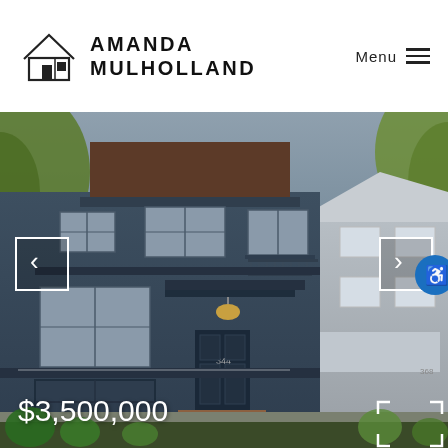[Figure (logo): Amanda Mulholland real estate logo: house outline icon with door, beside brand name text AMANDA MULHOLLAND]
AMANDA MULHOLLAND  Menu ☰
[Figure (photo): Exterior photo of a large Victorian-style San Francisco home painted dark navy blue with multiple gabled windows, decorative balcony, garage door, and front staircase with brick steps. Adjacent lighter-colored neighbor house visible on right. Trees and landscaping in foreground. Price overlay: $3,500,000. Left and right navigation arrows visible. Fullscreen expand icon in lower right.]
$3,500,000